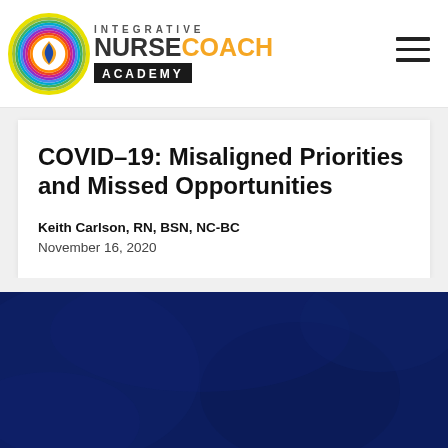[Figure (logo): Integrative Nurse Coach Academy logo with colorful circular emblem and text]
COVID-19: Misaligned Priorities and Missed Opportunities
Keith Carlson, RN, BSN, NC-BC
November 16, 2020
[Figure (photo): Dark navy blue textured background image, partially visible]